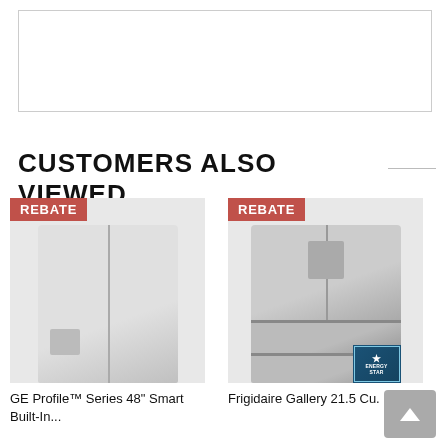[Figure (other): White rectangular box at the top of the page, likely a product image placeholder or advertisement area]
CUSTOMERS ALSO VIEWED
[Figure (photo): GE Profile Series 48 inch Smart Built-In refrigerator with REBATE badge]
GE Profile™ Series 48" Smart Built-In...
[Figure (photo): Frigidaire Gallery 21.5 Cu. Ft. refrigerator with REBATE badge and Energy Star badge]
Frigidaire Gallery 21.5 Cu. Ft...